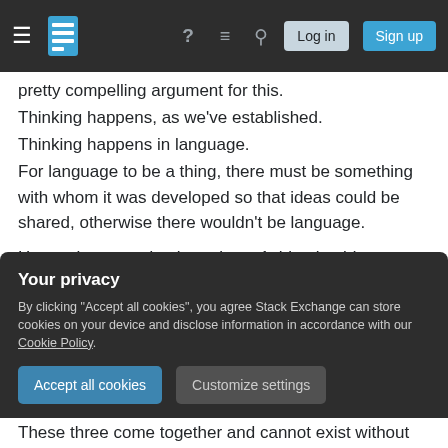Navigation bar with hamburger menu, Stack Exchange logo, help, chat, search icons, Log in and Sign up buttons
pretty compelling argument for this. Thinking happens, as we've established. Thinking happens in language. For language to be a thing, there must be something with whom it was developed so that ideas could be shared, otherwise there wouldn't be language.

Hence there need to be at least 1 thing besides my thoughts to communicate through language those thoughts, which is (to him) enough to show that there is
Your privacy
By clicking "Accept all cookies", you agree Stack Exchange can store cookies on your device and disclose information in accordance with our Cookie Policy.
These three come together and cannot exist without